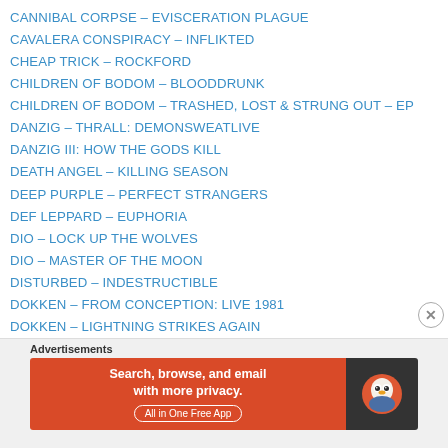CANNIBAL CORPSE – EVISCERATION PLAGUE
CAVALERA CONSPIRACY – INFLIKTED
CHEAP TRICK – ROCKFORD
CHILDREN OF BODOM – BLOODDRUNK
CHILDREN OF BODOM – TRASHED, LOST & STRUNG OUT – EP
DANZIG – THRALL: DEMONSWEATLIVE
DANZIG III: HOW THE GODS KILL
DEATH ANGEL – KILLING SEASON
DEEP PURPLE – PERFECT STRANGERS
DEF LEPPARD – EUPHORIA
DIO – LOCK UP THE WOLVES
DIO – MASTER OF THE MOON
DISTURBED – INDESTRUCTIBLE
DOKKEN – FROM CONCEPTION: LIVE 1981
DOKKEN – LIGHTNING STRIKES AGAIN
DOKKEN – UNCHAIN THE NIGHT DVD
[Figure (infographic): DuckDuckGo advertisement banner: orange left panel with text 'Search, browse, and email with more privacy. All in One Free App', dark right panel with DuckDuckGo owl logo.]